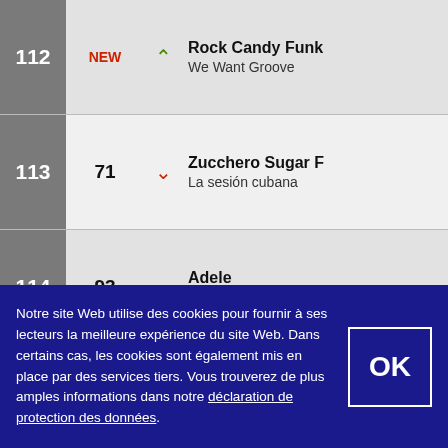| Rank | Previous | Trend | Artist / Album |
| --- | --- | --- | --- |
| 112 | NEW | ↑ | Rock Candy Funk / We Want Groove |
| 113 | 71 | ↓ | Zucchero Sugar F / La sesión cubana |
| 114 | 93 | ↓ | Adele / 19 |
| 115 | 118 | ↑ | Taylor Swift / Red |
| 116 | 107 | ↓ | Various Artists / Skyrock 2013 |
| 117 | 94 | ↓ | Madness / Oui oui si si ja ja da |
| 118 | 84 | ↓ | Cali / Vernet les Bains |
Notre site Web utilise des cookies pour fournir à ses lecteurs la meilleure expérience du site Web. Dans certains cas, les cookies sont également mis en place par des services tiers. Vous trouverez de plus amples informations dans notre déclaration de protection des données.